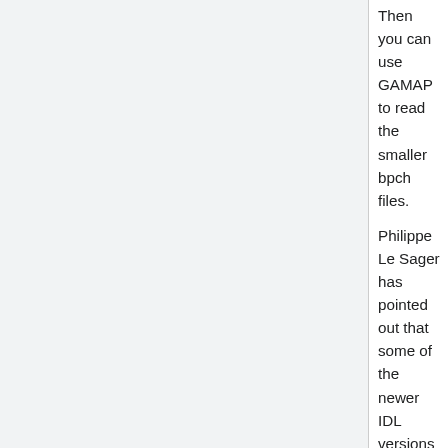Then you can use GAMAP to read the smaller bpch files.
Philippe Le Sager has pointed out that some of the newer IDL versions support 64-bit integer (LON64). Perhaps in a future version of GAMAP we will make the file pointer variable of this data type.
--Bob Y. 14:29, 25 June 2008 (EDT)
Graphics output
Creating PDF files
The current version of IDL (v7.x) cannot save directly to Adobe PDF format. The best way to create PDF files from IDL is to first create a PostScript file, and then use the utility ps2pdf to create a PDF file from the PostScript file. Most Unix or Linux distributions should come with a version of ps2pdf already installed.